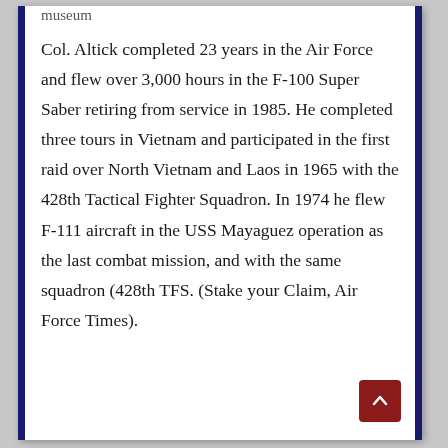museum
Col. Altick completed 23 years in the Air Force and flew over 3,000 hours in the F-100 Super Saber retiring from service in 1985. He completed three tours in Vietnam and participated in the first raid over North Vietnam and Laos in 1965 with the 428th Tactical Fighter Squadron. In 1974 he flew F-111 aircraft in the USS Mayaguez operation as the last combat mission, and with the same squadron (428th TFS. (Stake your Claim, Air Force Times).